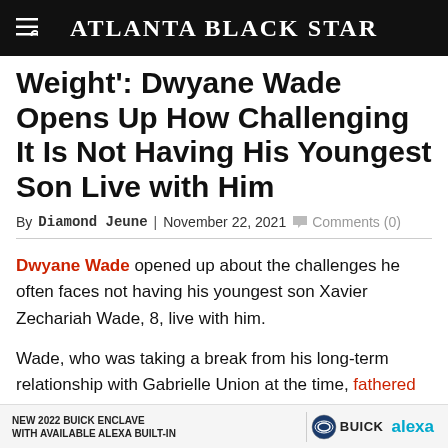Atlanta Black Star
Weight': Dwyane Wade Opens Up How Challenging It Is Not Having His Youngest Son Live with Him
By Diamond Jeune | November 22, 2021  Comments (0)
Dwyane Wade opened up about the challenges he often faces not having his youngest son Xavier Zechariah Wade, 8, live with him.
Wade, who was taking a break from his long-term relationship with Gabrielle Union at the time, fathered Xavier … er in 2013. R … onciled and lat…